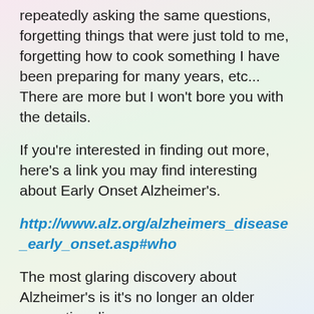repeatedly asking the same questions, forgetting things that were just told to me, forgetting how to cook something I have been preparing for many years, etc... There are more but I won't bore you with the details.
If you're interested in finding out more, here's a link you may find interesting about Early Onset Alzheimer's.
http://www.alz.org/alzheimers_disease_early_onset.asp#who
The most glaring discovery about Alzheimer's is it's no longer an older generation disease.
Here's hoping you will have an amazing day and an even better tomorrow!